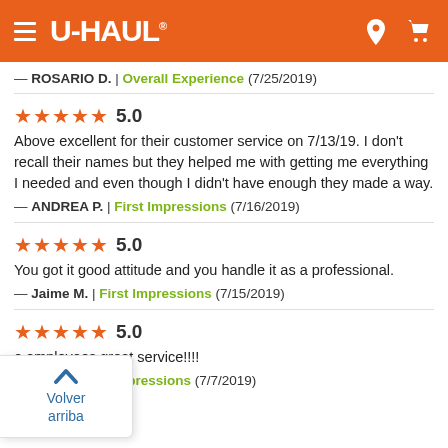U-HAUL
— ROSARIO D.  |  Overall Experience  (7/25/2019)
★★★★★ 5.0
Above excellent for their customer service on 7/13/19. I don't recall their names but they helped me with getting me everything I needed and even though I didn't have enough they made a way.
— ANDREA P.  |  First Impressions  (7/16/2019)
★★★★★ 5.0
You got it good attitude and you handle it as a professional.
— Jaime M.  |  First Impressions  (7/15/2019)
★★★★★ 5.0
e employees great service!!!!
— RA H.  |  First Impressions  (7/7/2019)